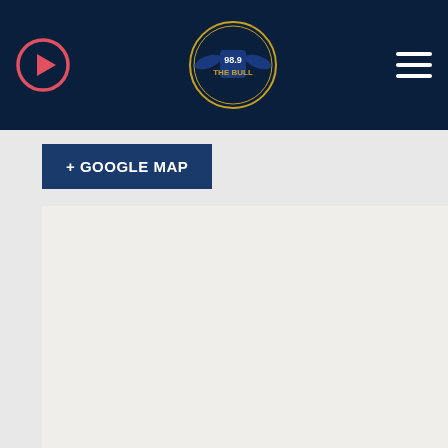98.9 The Bull radio station navigation bar with play button, logo, and hamburger menu
+ GOOGLE MAP
[Figure (map): Google Map showing Renton Memorial Stadium at 405 Logan Ave N, Renton, WA 98057. Map shows surrounding streets including N 4th street, N Ave N, E Perimeter Rd, and nearby businesses Green king carpet cleaning and Insignia Sign, Inc. A blue waterway/canal runs diagonally through the map. A green location pin marks the stadium. A blue parking icon and a grey business icon are also visible.]